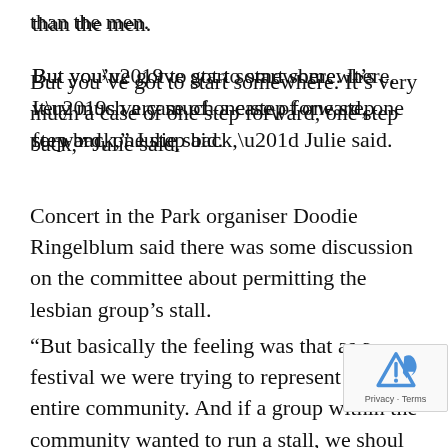than the men.
But you’ve got to start somewhere. It’s very much a case of one step forward, one step back,” Julie said.
Concert in the Park organiser Doodie Ringelblum said there was some discussion on the committee about permitting the lesbian group’s stall.
“But basically the feeling was that as a festival we were trying to represent the entire community. And if a group within the community wanted to run a stall, we should them,” he said.